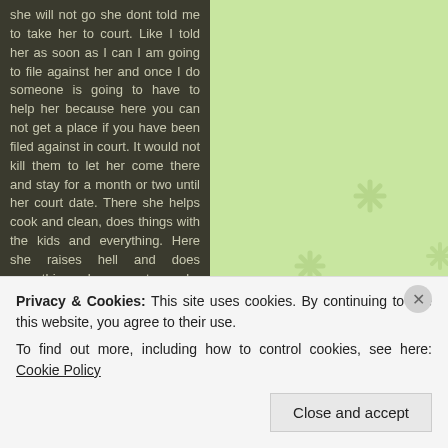[Figure (illustration): Light green background with decorative flower/asterisk shapes scattered across the right portion of the page]
she will not go she dont told me to take her to court. Like I told her as soon as I can I am going to file against her and once I do someone is going to have to help her because here you can not get a place if you have been filed against in court. It would not kill them to let her come there and stay for a month or two until her court date. There she helps cook and clean, does things with the kids and everything. Here she raises hell and does everything she can to make things harder.

I think she hates it that I am keeping it together and keeping a place. I know she can't stand it that I did not
Privacy & Cookies: This site uses cookies. By continuing to use this website, you agree to their use.
To find out more, including how to control cookies, see here: Cookie Policy
Close and accept